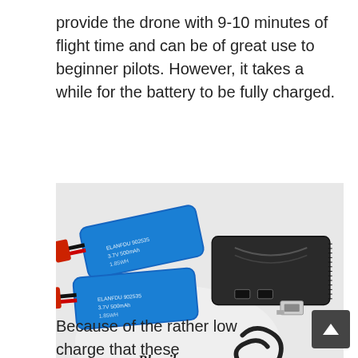provide the drone with 9-10 minutes of flight time and can be of great use to beginner pilots. However, it takes a while for the battery to be fully charged.
[Figure (photo): Two blue LiPo drone batteries with red JST connectors, a black dual USB battery charger, and a USB charging cable laid out on a white Blomiky branded cloth.]
Because of the rather low charge that these